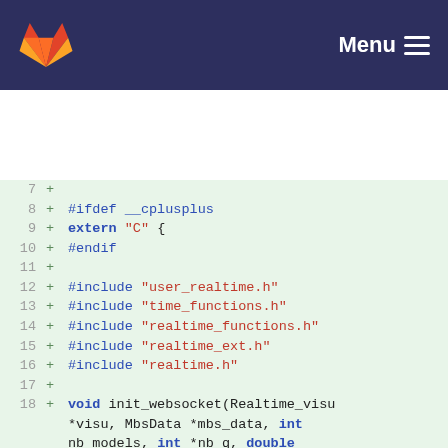Menu
[Figure (screenshot): GitLab diff view showing C/C++ header file additions, lines 7-20, with syntax highlighting. Lines include #ifdef __cplusplus, extern C, #endif, #include directives for user_realtime.h, time_functions.h, realtime_functions.h, realtime_ext.h, realtime.h, and function declarations: init_websocket, send_mbs_data, joints_update.]